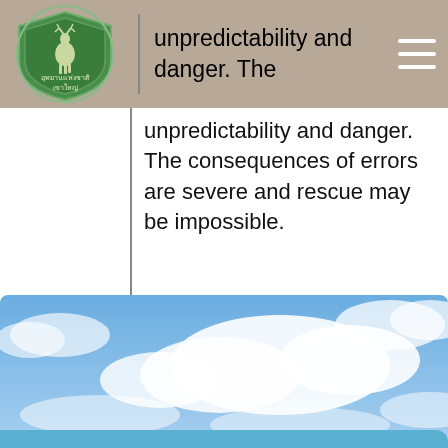[Figure (logo): Thai national park logo with deer and shield, green circular badge with Thai text]
unpredictability and danger. The consequences of errors are severe and rescue may be impossible.
[Figure (photo): Blue sky with white clouds photograph]